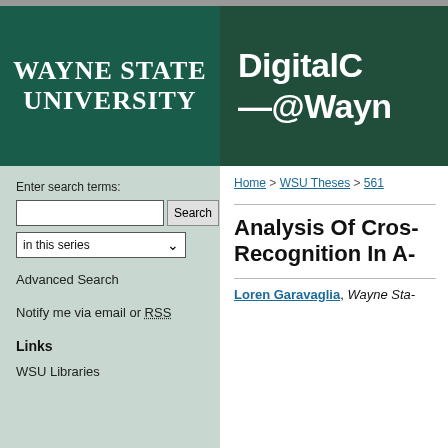[Figure (logo): Wayne State University logo - white text on dark teal background]
[Figure (logo): DigitalCommons @Wayne State logo - white bold text on dark green background]
Enter search terms:
in this series
Advanced Search
Notify me via email or RSS
Links
WSU Libraries
Home > WSU Theses > 561
Analysis Of Cros- Recognition In A-
Loren Garavaglia, Wayne Sta-